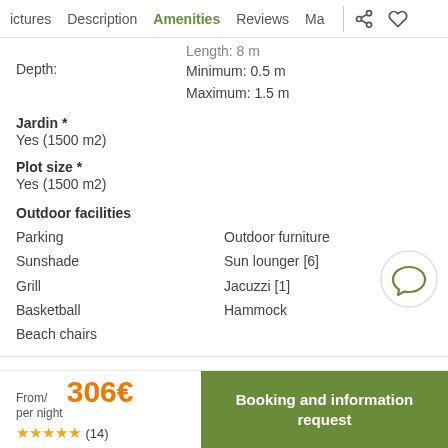Pictures  Description  Amenities  Reviews  Ma
Length: 8 m
Depth:   Minimum: 0.5 m   Maximum: 1.5 m
Jardin *
Yes (1500 m2)
Plot size *
Yes (1500 m2)
Outdoor facilities
Parking
Sunshade
Grill
Basketball
Beach chairs
Outdoor furniture
Sun lounger [6]
Jacuzzi [1]
Hammock
From/ per night  306€
★★★★★ (14)
Booking and information request